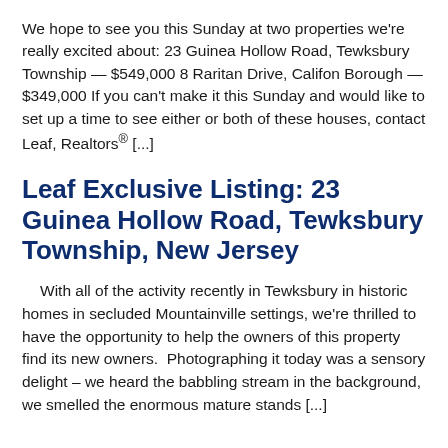We hope to see you this Sunday at two properties we're really excited about: 23 Guinea Hollow Road, Tewksbury Township — $549,000 8 Raritan Drive, Califon Borough — $349,000 If you can't make it this Sunday and would like to set up a time to see either or both of these houses, contact Leaf, Realtors® [...]
Leaf Exclusive Listing: 23 Guinea Hollow Road, Tewksbury Township, New Jersey
With all of the activity recently in Tewksbury in historic homes in secluded Mountainville settings, we're thrilled to have the opportunity to help the owners of this property find its new owners.  Photographing it today was a sensory delight – we heard the babbling stream in the background, we smelled the enormous mature stands [...]